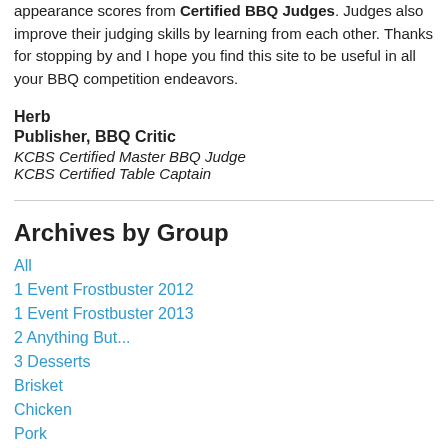appearance scores from Certified BBQ Judges. Judges also improve their judging skills by learning from each other. Thanks for stopping by and I hope you find this site to be useful in all your BBQ competition endeavors.
Herb
Publisher, BBQ Critic
KCBS Certified Master BBQ Judge
KCBS Certified Table Captain
Archives by Group
All
1 Event Frostbuster 2012
1 Event Frostbuster 2013
2 Anything But...
3 Desserts
Brisket
Chicken
Pork
Ribs